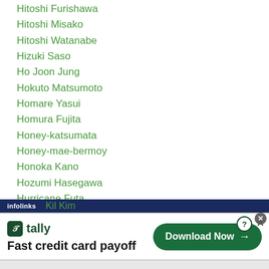Hitoshi Misako
Hitoshi Watanabe
Hizuki Saso
Ho Joon Jung
Hokuto Matsumoto
Homare Yasui
Homura Fujita
Honey-katsumata
Honey-mae-bermoy
Honoka Kano
Hozumi Hasegawa
Hurricane Futa
Hurricane-teru
Hurshidbek Normatov
Hurshid Tojibaev
Kil Kim
[Figure (screenshot): Advertisement banner for Tally app: 'Fast credit card payoff' with Download Now button]